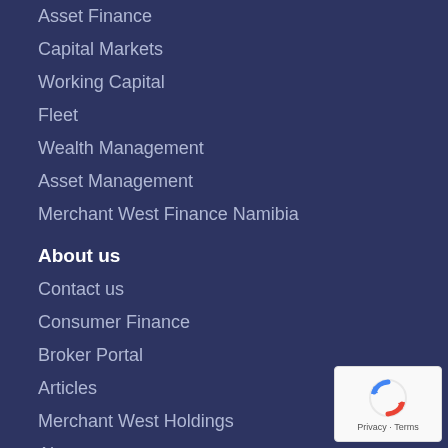Asset Finance
Capital Markets
Working Capital
Fleet
Wealth Management
Asset Management
Merchant West Finance Namibia
About us
Contact us
Consumer Finance
Broker Portal
Articles
Merchant West Holdings
About us
Investor Relations
Contact Us
[Figure (logo): reCAPTCHA badge with Privacy and Terms text]